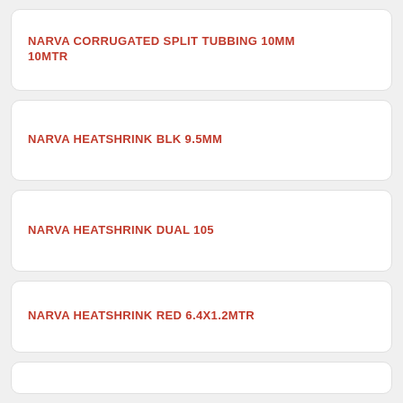NARVA CORRUGATED SPLIT TUBBING 10MM 10MTR
NARVA HEATSHRINK BLK 9.5MM
NARVA HEATSHRINK DUAL 105
NARVA HEATSHRINK RED 6.4X1.2MTR